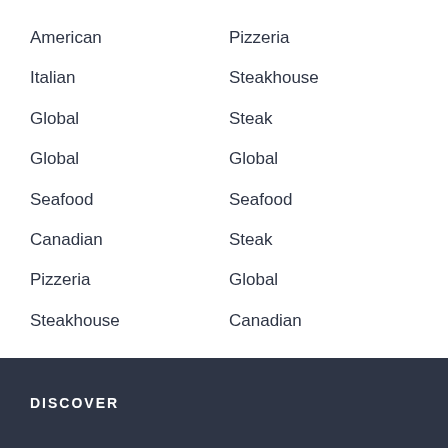American
Pizzeria
Italian
Steakhouse
Global
Steak
Global
Global
Seafood
Seafood
Canadian
Steak
Pizzeria
Global
Steakhouse
Canadian
DISCOVER